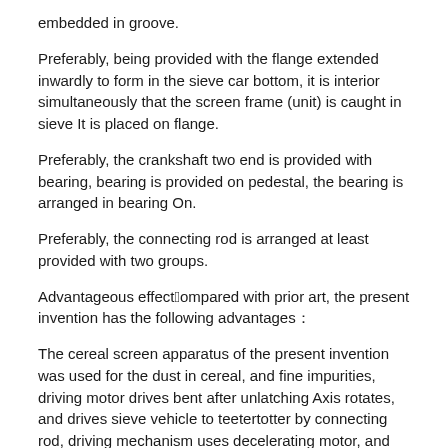embedded in groove.
Preferably, being provided with the flange extended inwardly to form in the sieve car bottom, it is interior simultaneously that the screen frame (unit) is caught in sieve It is placed on flange.
Preferably, the crankshaft two end is provided with bearing, bearing is provided on pedestal, the bearing is arranged in bearing On.
Preferably, the connecting rod is arranged at least provided with two groups.
Advantageous effect：Compared with prior art, the present invention has the following advantages：
The cereal screen apparatus of the present invention was used for the dust in cereal, and fine impurities, driving motor drives bent after unlatching Axis rotates, and drives sieve vehicle to teetertotter by connecting rod, driving mechanism uses decelerating motor, and compact-sized, floor space is small, stablizes Property it is high, sieve of the invention can replace the different sieve of width of